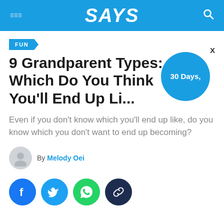SAYS
FUN
9 Grandparent Types: Which Do You Think You'll End Up Li...
Even if you don't know which you'll end up like, do you know which you don't want to end up becoming?
By Melody Oei